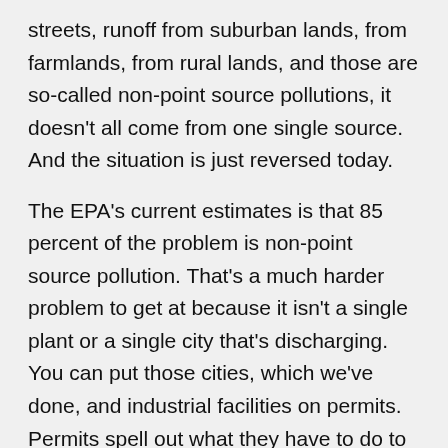streets, runoff from suburban lands, from farmlands, from rural lands, and those are so-called non-point source pollutions, it doesn't all come from one single source. And the situation is just reversed today.
The EPA's current estimates is that 85 percent of the problem is non-point source pollution. That's a much harder problem to get at because it isn't a single plant or a single city that's discharging. You can put those cities, which we've done, and industrial facilities on permits. Permits spell out what they have to do to keep the water from being polluted from their discharge. They have self-reporting requirements if they violate any of the terms of the permit they can either be fined substantially or be put in jail if they violate on purpose the requirements of the permit itself.